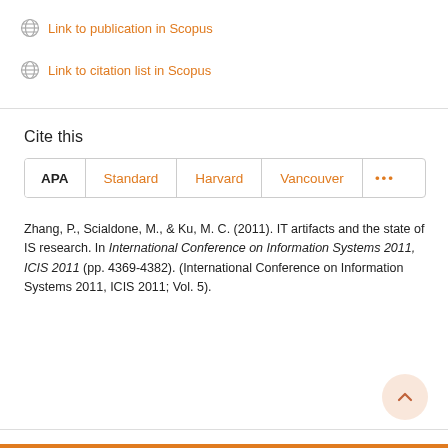Link to publication in Scopus
Link to citation list in Scopus
Cite this
APA | Standard | Harvard | Vancouver | ...
Zhang, P., Scialdone, M., & Ku, M. C. (2011). IT artifacts and the state of IS research. In International Conference on Information Systems 2011, ICIS 2011 (pp. 4369-4382). (International Conference on Information Systems 2011, ICIS 2011; Vol. 5).